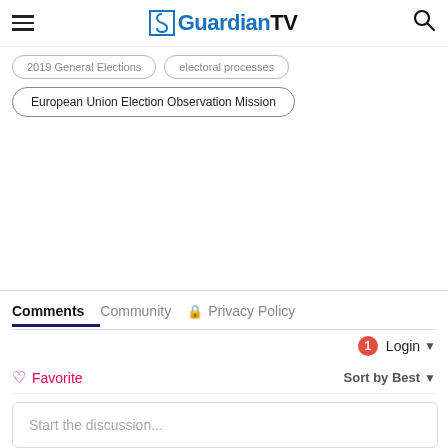GuardianTV
2019 General Elections
electoral processes
European Union Election Observation Mission
Comments  Community  Privacy Policy
1  Login
Favorite  Sort by Best
Start the discussion...